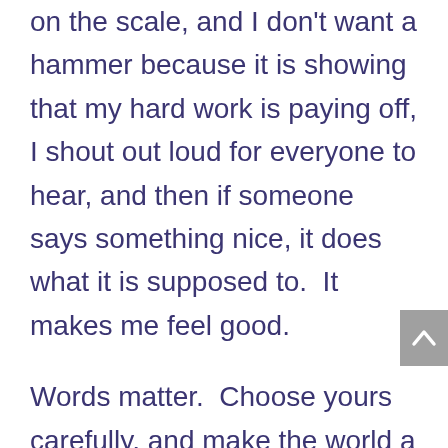on the scale, and I don't want a hammer because it is showing that my hard work is paying off, I shout out loud for everyone to hear, and then if someone says something nice, it does what it is supposed to.  It makes me feel good.
Words matter.  Choose yours carefully, and make the world a better place because of them.  If you can help someone today by being kind, please do.  It might be the only good thing that person hears all day, or even all week.  It is nice to have something good to remember that tells you to keep going, and that you matter.  We all do.  If your words come from your heart and are meant to be